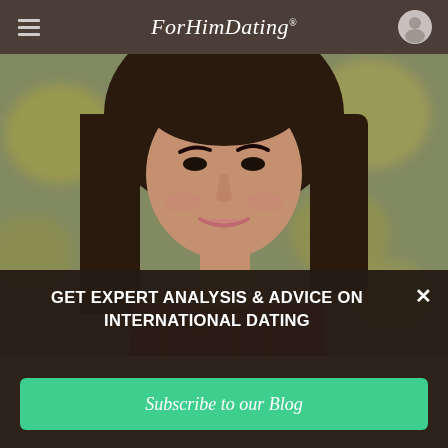ForHimDating
[Figure (photo): Portrait photo of a young woman with long brown hair, smiling, with an outdoor blurred background of autumn trees]
GET EXPERT ANALYSIS & ADVICE ON INTERNATIONAL DATING
Subscribe to our Blog